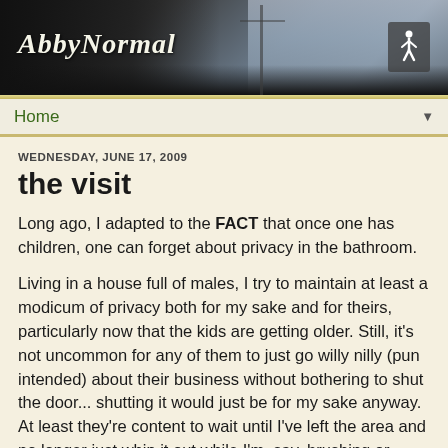[Figure (photo): Blog header banner with dark landscape photo, utility poles visible, twilight sky on right side. Blog title 'AbbyNormal' in italic script on left, pedestrian icon on right.]
Home ▼
WEDNESDAY, JUNE 17, 2009
the visit
Long ago, I adapted to the FACT that once one has children, one can forget about privacy in the bathroom.
Living in a house full of males, I try to maintain at least a modicum of privacy both for my sake and for theirs, particularly now that the kids are getting older. Still, it's not uncommon for any of them to just go willy nilly (pun intended) about their business without bothering to shut the door... shutting it would just be for my sake anyway. At least they're content to wait until I've left the area and no longer just whip it out while I'm, say, brushing or flossing. So that's